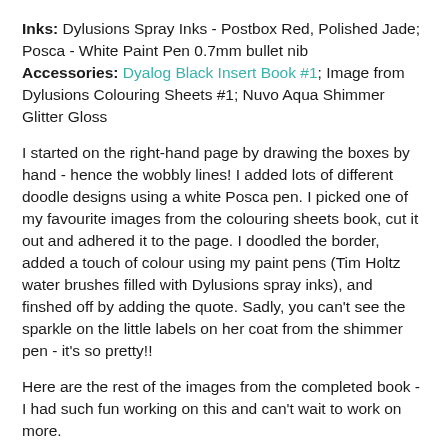Inks: Dylusions Spray Inks - Postbox Red, Polished Jade; Posca - White Paint Pen 0.7mm bullet nib
Accessories: Dyalog Black Insert Book #1; Image from Dylusions Colouring Sheets #1; Nuvo Aqua Shimmer Glitter Gloss
I started on the right-hand page by drawing the boxes by hand - hence the wobbly lines! I added lots of different doodle designs using a white Posca pen. I picked one of my favourite images from the colouring sheets book, cut it out and adhered it to the page. I doodled the border, added a touch of colour using my paint pens (Tim Holtz water brushes filled with Dylusions spray inks), and finshed off by adding the quote. Sadly, you can't see the sparkle on the little labels on her coat from the shimmer pen - it's so pretty!!
Here are the rest of the images from the completed book - I had such fun working on this and can't wait to work on more.
[Figure (photo): Dark/black background journal page with white doodle designs]
[Figure (photo): Dark red/burgundy background journal page with white doodle designs]